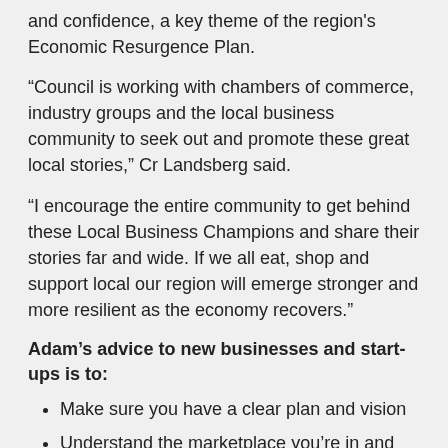and confidence, a key theme of the region's Economic Resurgence Plan.
“Council is working with chambers of commerce, industry groups and the local business community to seek out and promote these great local stories,” Cr Landsberg said.
“I encourage the entire community to get behind these Local Business Champions and share their stories far and wide. If we all eat, shop and support local our region will emerge stronger and more resilient as the economy recovers.”
Adam’s advice to new businesses and start-ups is to:
Make sure you have a clear plan and vision
Understand the marketplace you’re in and how you should market your business
Have clear consultations with council and know the business requirements
Engage with local community groups and organisations.
Local Business Champions: Sharing Stories highlights the success and capability of our local business community.